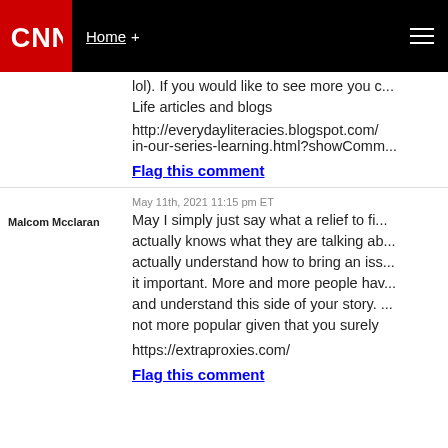CNN | Home +
lol). If you would like to see more you c... Life articles and blogs
http://everydayliteracies.blogspot.com/...in-our-series-learning.html?showComm...
Flag this comment
Malcom Mcclaran
May 11th, 2021 11:15 pm ET
May I simply just say what a relief to fi... actually knows what they are talking ab... actually understand how to bring an iss... it important. More and more people hav... and understand this side of your story. ... not more popular given that you surely
https://extraproxies.com/
Flag this comment